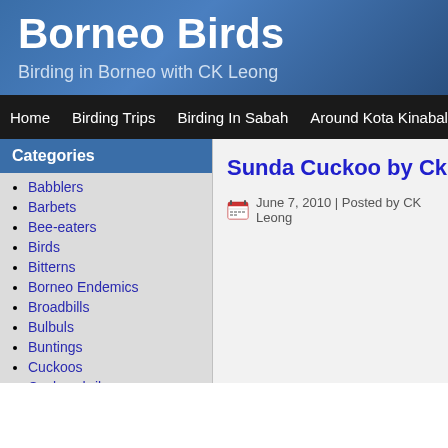Borneo Birds
Birding in Borneo with CK Leong
Home | Birding Trips | Birding In Sabah | Around Kota Kinabalu | E…
Categories
Babblers
Barbets
Bee-eaters
Birds
Bitterns
Borneo Endemics
Broadbills
Bulbuls
Buntings
Cuckoos
Cuckooshrikes
Curlews
Drongos
Ducks
Fantails
Sunda Cuckoo by Ck Le…
June 7, 2010 | Posted by CK Leong